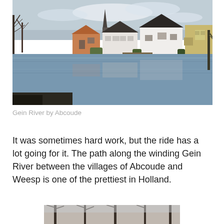[Figure (photo): Photograph of the Gein River by Abcoude showing Dutch houses with white gabled roofs, a church spire, bare trees, and calm water reflecting the scene. A blue boat is moored near the far bank.]
Gein River by Abcoude
It was sometimes hard work, but the ride has a lot going for it. The path along the winding Gein River between the villages of Abcoude and Weesp is one of the prettiest in Holland.
[Figure (photo): Partial photograph showing bare trees in winter, bottom portion cut off by page edge.]